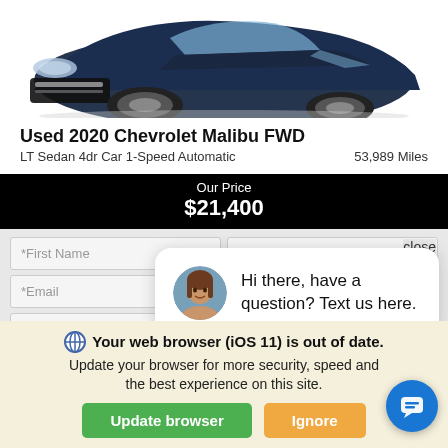[Figure (photo): Partial front view of a dark blue 2020 Chevrolet Malibu sedan against a white background]
Used 2020 Chevrolet Malibu FWD
LT Sedan 4dr Car 1-Speed Automatic    53,989 Miles
Our Price
$21,400
[Figure (screenshot): Web form with fields: *First Name, *Last Name, close button, *Email, Phone, I PREFER TO TEXT button]
[Figure (photo): Chat popup with woman avatar: Hi there, have a question? Text us here.]
Your web browser (iOS 11) is out of date. Update your browser for more security, speed and the best experience on this site.
[Figure (other): Green Update browser button and orange Ignore button, plus blue floating chat icon]